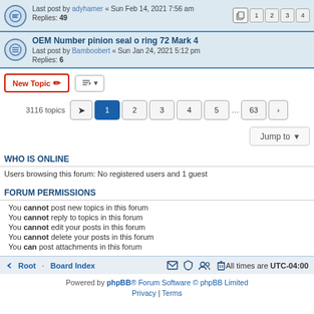Last post by adyhamer « Sun Feb 14, 2021 7:56 am
Replies: 49
OEM Number pinion seal o ring 72 Mark 4
Last post by Bamboobert « Sun Jan 24, 2021 5:12 pm
Replies: 6
3116 topics  1 2 3 4 5 ... 63
Jump to
WHO IS ONLINE
Users browsing this forum: No registered users and 1 guest
FORUM PERMISSIONS
You cannot post new topics in this forum
You cannot reply to topics in this forum
You cannot edit your posts in this forum
You cannot delete your posts in this forum
You can post attachments in this forum
Root · Board Index   All times are UTC-04:00
Powered by phpBB® Forum Software © phpBB Limited
Privacy | Terms